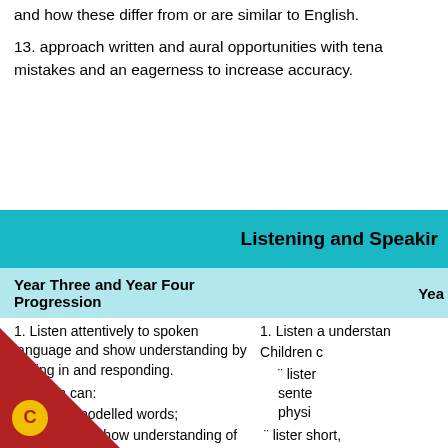and how these differ from or are similar to English.
13. approach written and aural opportunities with tena mistakes and an eagerness to increase accuracy.
| Year Three and Year Four Progression | Yea |
| --- | --- |
| 1. Listen attentively to spoken language and show understanding by joining in and responding.
Children can:
¨ repeat modelled words;
¨ listen and show understanding of single words through physical response;
¨ repeat modelled short phrases;
¨ listen and show understanding of short | 1. Listen a understan
Children c
¨ listen sente physi
¨ listen short,
¨ liste |
Listening and Speaking